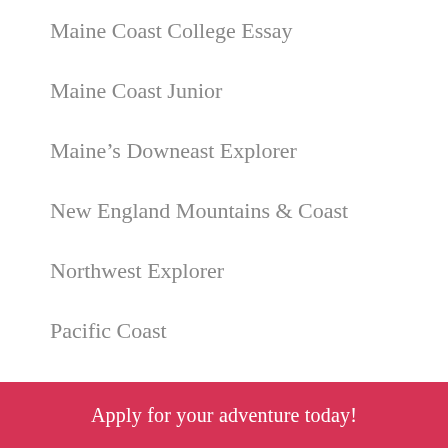Maine Coast College Essay
Maine Coast Junior
Maine’s Downeast Explorer
New England Mountains & Coast
Northwest Explorer
Pacific Coast
Pyrenees Mountains & Coast
Vermont to Montréal
What our parents and students are saying:
Apply for your adventure today!